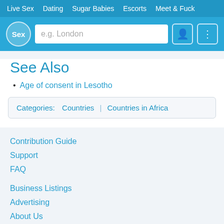Live Sex  Dating  Sugar Babies  Escorts  Meet & Fuck
[Figure (screenshot): Website header with logo circle showing 'Sex', search input placeholder 'e.g. London', user icon button and menu icon button]
See Also
Age of consent in Lesotho
Categories:  Countries | Countries in Africa
Contribution Guide
Support
FAQ
Business Listings
Advertising
About Us